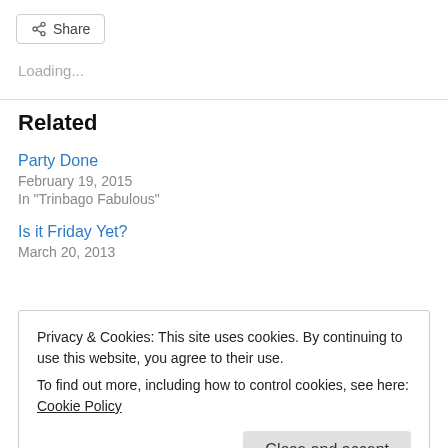Share
Loading...
Related
Party Done
February 19, 2015
In "Trinbago Fabulous"
Is it Friday Yet?
March 20, 2013
Privacy & Cookies: This site uses cookies. By continuing to use this website, you agree to their use. To find out more, including how to control cookies, see here: Cookie Policy
Close and accept